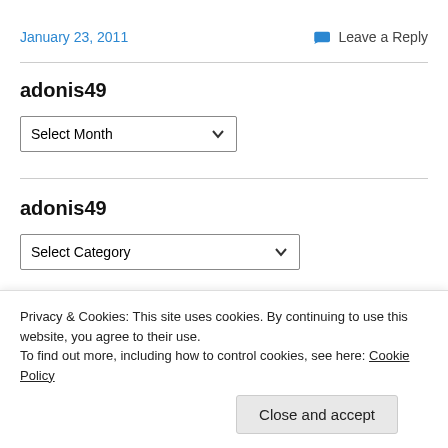January 23, 2011
Leave a Reply
adonis49
Select Month
adonis49
Select Category
Privacy & Cookies: This site uses cookies. By continuing to use this website, you agree to their use.
To find out more, including how to control cookies, see here: Cookie Policy
Close and accept